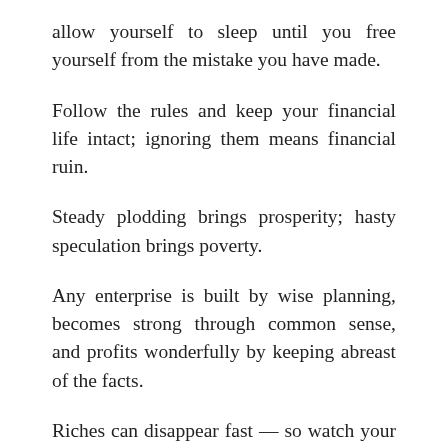allow yourself to sleep until you free yourself from the mistake you have made.
Follow the rules and keep your financial life intact; ignoring them means financial ruin.
Steady plodding brings prosperity; hasty speculation brings poverty.
Any enterprise is built by wise planning, becomes strong through common sense, and profits wonderfully by keeping abreast of the facts.
Riches can disappear fast — so watch your business interests closely. Know the state of your investments.